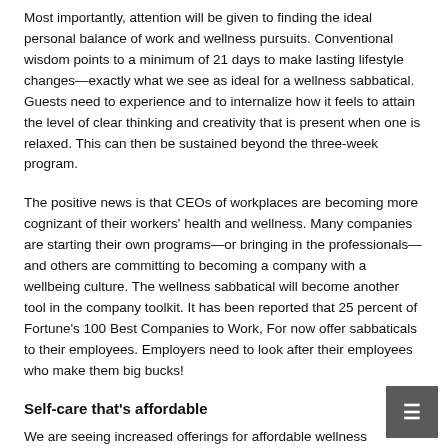Most importantly, attention will be given to finding the ideal personal balance of work and wellness pursuits. Conventional wisdom points to a minimum of 21 days to make lasting lifestyle changes—exactly what we see as ideal for a wellness sabbatical. Guests need to experience and to internalize how it feels to attain the level of clear thinking and creativity that is present when one is relaxed. This can then be sustained beyond the three-week program.
The positive news is that CEOs of workplaces are becoming more cognizant of their workers' health and wellness. Many companies are starting their own programs—or bringing in the professionals— and others are committing to becoming a company with a wellbeing culture. The wellness sabbatical will become another tool in the company toolkit. It has been reported that 25 percent of Fortune's 100 Best Companies to Work, For now offer sabbaticals to their employees. Employers need to look after their employees who make them big bucks!
Self-care that's affordable
We are seeing increased offerings for affordable wellness getaways, often